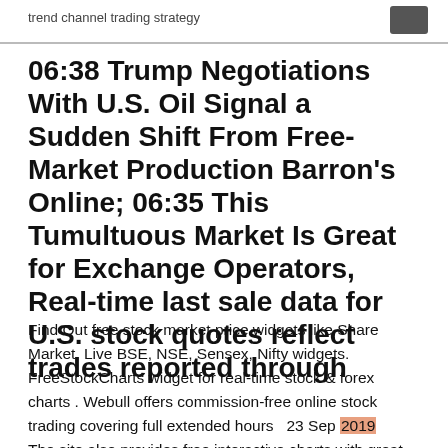trend channel trading strategy
06:38 Trump Negotiations With U.S. Oil Signal a Sudden Shift From Free-Market Production Barron's Online; 06:35 This Tumultuous Market Is Great for Exchange Operators, Real-time last sale data for U.S. stock quotes reflect trades reported through
Find Out free stock market price widgets like Share Market, Live BSE, NSE, Sensex, Nifty widgets. FreeStockCharts widget for real-time stock & forex charts . Webull offers commission-free online stock trading covering full extended hours  23 Sep 2019 The site also provides free interactive charts with great charting tools, including more than 100 technical indicators to